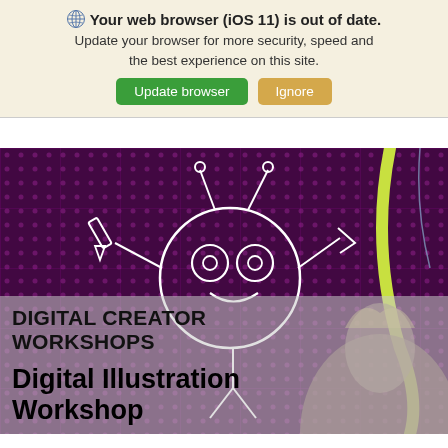🌐 Your web browser (iOS 11) is out of date. Update your browser for more security, speed and the best experience on this site. [Update browser] [Ignore]
[Figure (screenshot): Hero banner image with purple dotted background, white cartoon bug/creature illustration, a person visible in bottom right, semi-transparent grey overlay at bottom with text overlay]
DIGITAL CREATOR WORKSHOPS
Digital Illustration Workshop